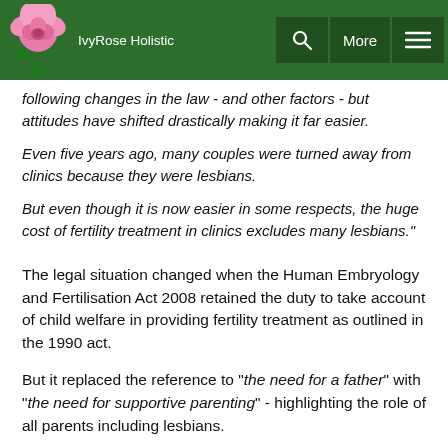IvyRose Holistic
following changes in the law - and other factors - but attitudes have shifted drastically making it far easier.
Even five years ago, many couples were turned away from clinics because they were lesbians.
But even though it is now easier in some respects, the huge cost of fertility treatment in clinics excludes many lesbians."
The legal situation changed when the Human Embryology and Fertilisation Act 2008 retained the duty to take account of child welfare in providing fertility treatment as outlined in the 1990 act.
But it replaced the reference to "the need for a father" with "the need for supportive parenting" - highlighting the role of all parents including lesbians.
But No, it continued...